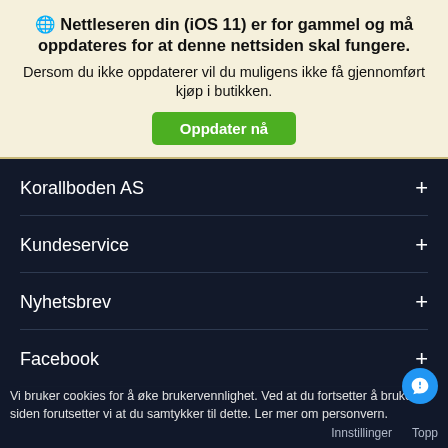🌐 Nettleseren din (iOS 11) er for gammel og må oppdateres for at denne nettsiden skal fungere.
Dersom du ikke oppdaterer vil du muligens ikke få gjennomført kjøp i butikken.
Oppdater nå
Korallboden AS +
Kundeservice +
Nyhetsbrev +
Facebook +
Vi bruker cookies for å øke brukervennlighet. Ved at du fortsetter å bruke siden forutsetter vi at du samtykker til dette. Ler mer om personvern.
Innstillinger   Topp